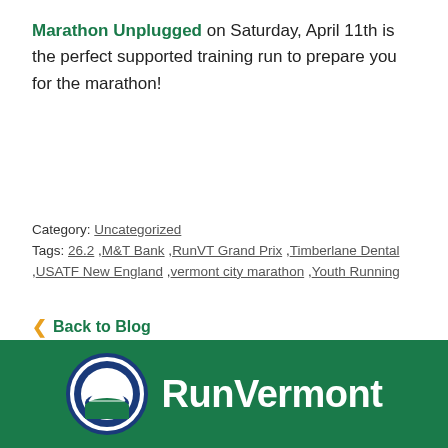Marathon Unplugged on Saturday, April 11th is the perfect supported training run to prepare you for the marathon!
Category: Uncategorized
Tags: 26.2 ,M&T Bank ,RunVT Grand Prix ,Timberlane Dental ,USATF New England ,vermont city marathon ,Youth Running
‹ Back to Blog
[Figure (logo): RunVermont logo on a dark green footer bar. A circular blue and white mountain/wave emblem on the left, followed by white bold text reading 'RunVermont'.]